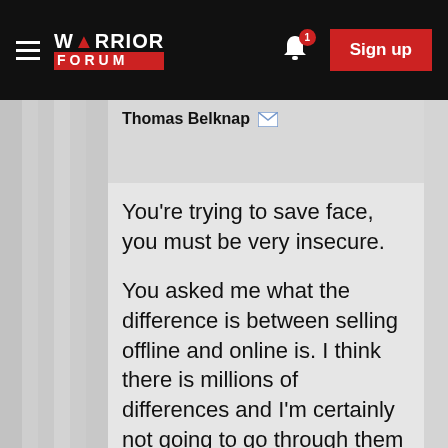Warrior Forum — Sign up
Thomas Belknap
You're trying to save face, you must be very insecure.
You asked me what the difference is between selling offline and online is. I think there is millions of differences and I'm certainly not going to go through them all